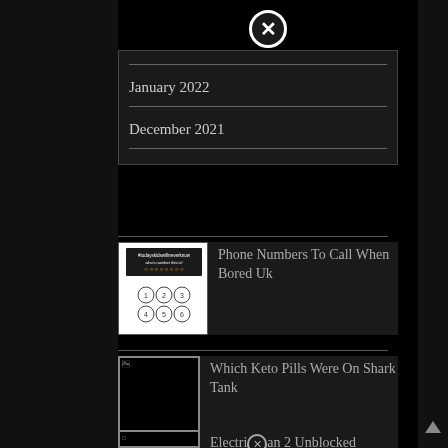January 2022
December 2021
[Figure (photo): Phone dial pad image with text #todayskidswillneverknow]
Phone Numbers To Call When Bored Uk
[Figure (photo): Broken/missing image placeholder]
Which Keto Pills Were On Shark Tank
[Figure (photo): Broken/missing image placeholder]
Electrician 2 Unblocked